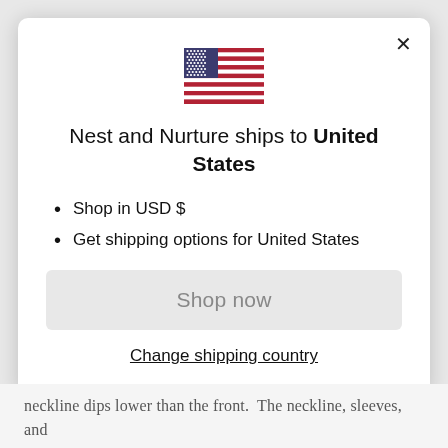[Figure (illustration): US flag emoji/icon centered above the title]
Nest and Nurture ships to United States
Shop in USD $
Get shipping options for United States
Shop now
Change shipping country
neckline dips lower than the front.  The neckline, sleeves, and